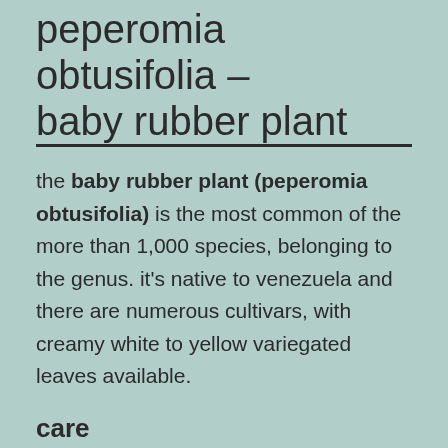peperomia obtusifolia – baby rubber plant
the baby rubber plant (peperomia obtusifolia) is the most common of the more than 1,000 species, belonging to the genus. it's native to venezuela and there are numerous cultivars, with creamy white to yellow variegated leaves available.
care
the green form of peperomia obtusifolia can be located from partial sun (morning/evening) to light shade, for producing their variegation, the